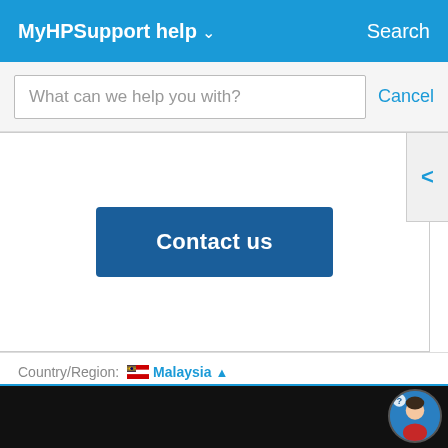MyHPSupport help ∨   Search
What can we help you with?
Cancel
[Figure (screenshot): Contact us button on HP Support page with a blue background]
Country/Region: Malaysia ▲
[Figure (illustration): Chat avatar icon in bottom right corner]